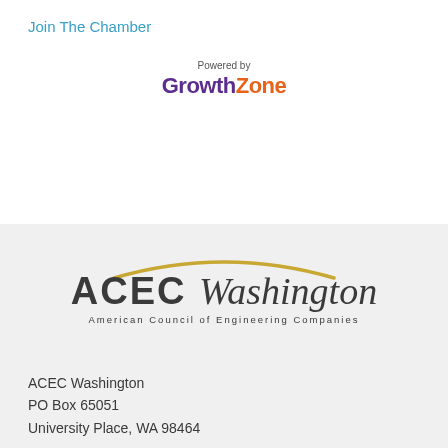Join The Chamber
[Figure (logo): GrowthZone logo with 'Powered by' text above. 'Growth' in purple bold and 'Zone' in orange bold.]
[Figure (logo): ACEC Washington logo — American Council of Engineering Companies. Gold arc above bold 'ACEC Washington' text with subtitle in small caps.]
ACEC Washington
PO Box 65051
University Place, WA 98464